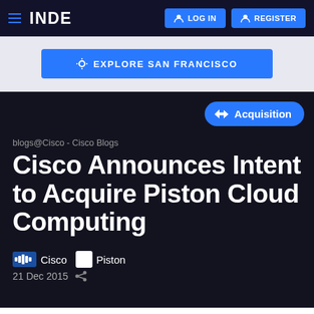INDE  LOG IN  REGISTER
EXPLORE SAN FRANCISCO
Acquisition
blogs@Cisco - Cisco Blogs
Cisco Announces Intent to Acquire Piston Cloud Computing
Cisco  Piston  21 Dec 2015